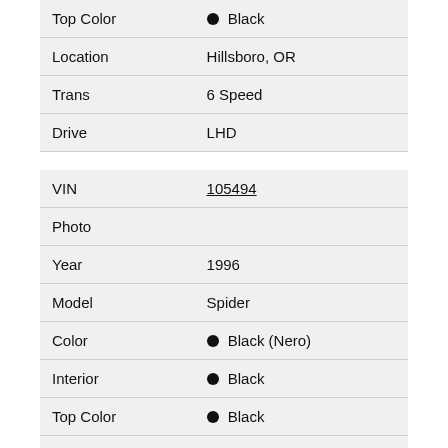| Top Color | ● Black |
| Location | Hillsboro, OR |
| Trans | 6 Speed |
| Drive | LHD |
| VIN | 105494 |
| Photo |  |
| Year | 1996 |
| Model | Spider |
| Color | ● Black (Nero) |
| Interior | ● Black |
| Top Color | ● Black |
| Location | Europe |
| Trans | 6 Speed |
| Drive | LHD |